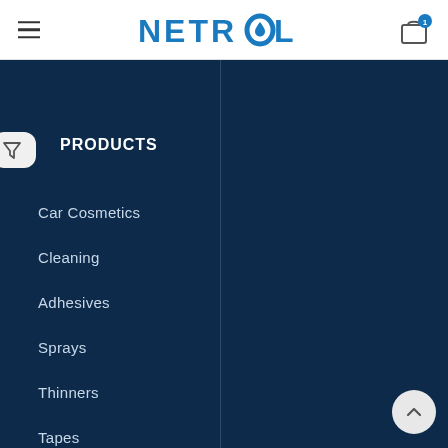NETROL
PRODUCTS
Car Cosmetics
Cleaning
Adhesives
Sprays
Thinners
Tapes
Sealants